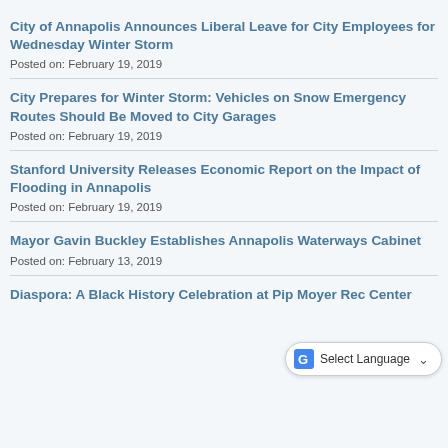City of Annapolis Announces Liberal Leave for City Employees for Wednesday Winter Storm
Posted on: February 19, 2019
City Prepares for Winter Storm: Vehicles on Snow Emergency Routes Should Be Moved to City Garages
Posted on: February 19, 2019
Stanford University Releases Economic Report on the Impact of Flooding in Annapolis
Posted on: February 19, 2019
Mayor Gavin Buckley Establishes Annapolis Waterways Cabinet
Posted on: February 13, 2019
Diaspora: A Black History Celebration at Pip Moyer Rec Center